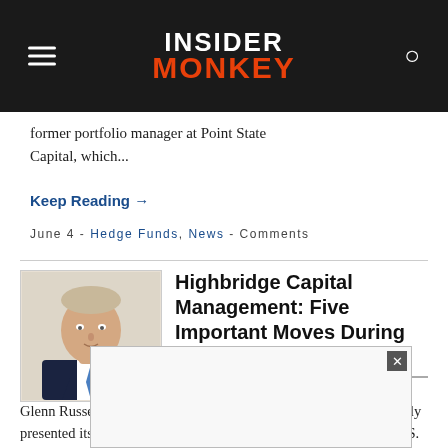INSIDER MONKEY
former portfolio manager at Point State Capital, which...
Keep Reading →
June 4 - Hedge Funds, News - Comments
Highbridge Capital Management: Five Important Moves During Q1
Glenn Russell Dubin's Highbridge Capital Management, has recently presented its Form 13F Filing for the first quarter of 2014 at the U.S. Securities and Exchange Commission.
[Figure (illustration): Portrait illustration of a man in a suit with a blue tie, used as article thumbnail]